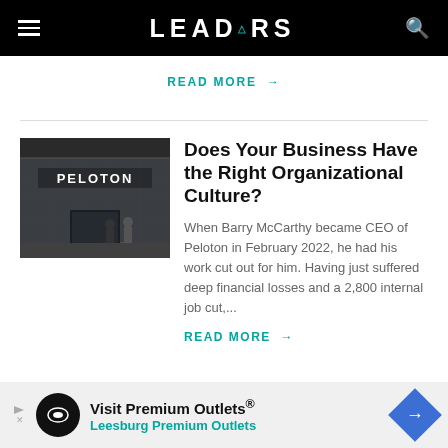LEADERS
READ MORE →
[Figure (photo): Peloton storefront exterior with people walking in front]
Does Your Business Have the Right Organizational Culture?
When Barry McCarthy became CEO of Peloton in February 2022, he had his work cut out for him. Having just suffered deep financial losses and a 2,800 internal job cut,...
READ MORE →
[Figure (other): Advertisement: Visit Premium Outlets® Leesburg Premium Outlets]